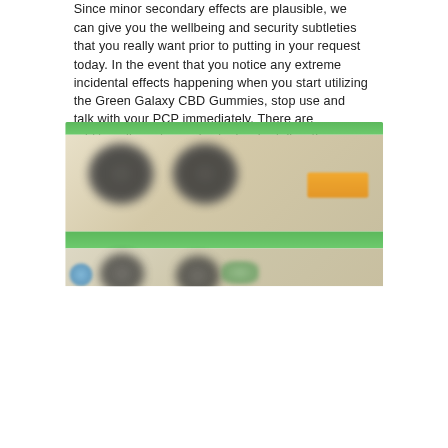Since minor secondary effects are plausible, we can give you the wellbeing and security subtleties that you really want prior to putting in your request today. In the event that you notice any extreme incidental effects happening when you start utilizing the Green Galaxy CBD Gummies, stop use and talk with your PCP immediately. There are additionally certain individuals who talk with a clinical expert before they start utilizing the color to be better educated about their present wellbeing.
[Figure (photo): Blurred product image showing CBD gummies bottles with green banner bars and an orange buy button, partially obscured/blurred]